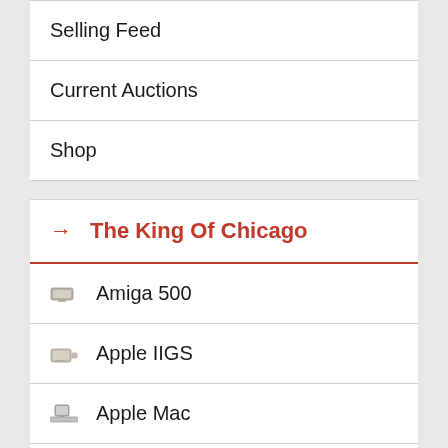Selling Feed
Current Auctions
Shop
The King Of Chicago
Amiga 500
Apple IIGS
Apple Mac
Atari ST